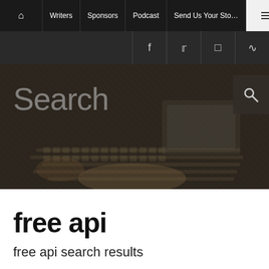Home | Writers | Sponsors | Podcast | Send Us Your Sto... | ☰
f | t | Instagram | RSS
[Figure (screenshot): Hero banner with dark overlay over photo of hands typing on laptop keyboard, with 'Search' text on left and search icon button on right]
free api
free api search results